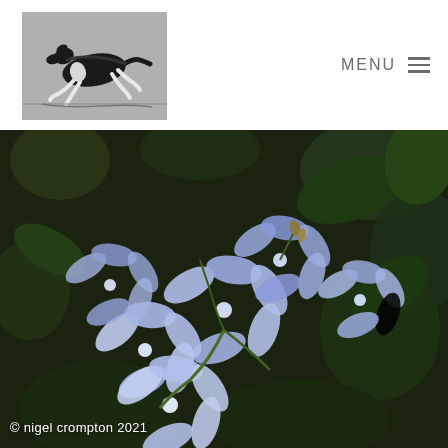[Figure (logo): Website logo: a greyhound/dog running in silhouette on a grey square background]
MENU ≡
[Figure (photo): Close-up photograph of light blue/lavender plumbago flowers against a dark green bokeh background]
© nigel crompton 2021